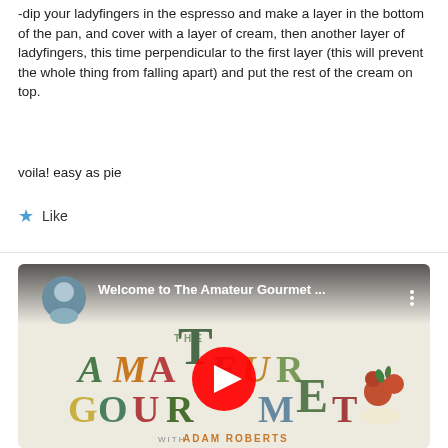-dip your ladyfingers in the espresso and make a layer in the bottom of the pan, and cover with a layer of cream, then another layer of ladyfingers, this time perpendicular to the first layer (this will prevent the whole thing from falling apart) and put the rest of the cream on top.
voila! easy as pie
★ Like
[Figure (screenshot): YouTube video thumbnail for 'Welcome to The Amateur Gourmet...' showing the Amateur Gourmet logo with colorful text, a play button overlay, and Adam Roberts branding. A circular avatar of a man appears in the top left corner.]